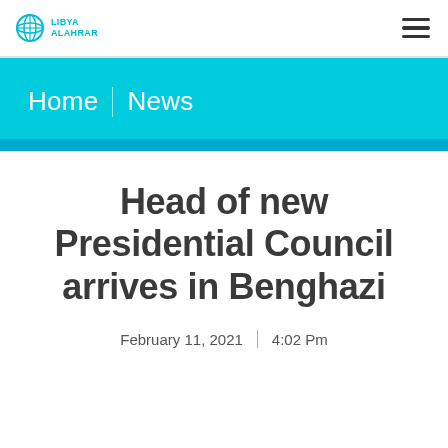LIBYA ALAHRAR
Home | News
Head of new Presidential Council arrives in Benghazi
February 11, 2021 | 4:02 Pm